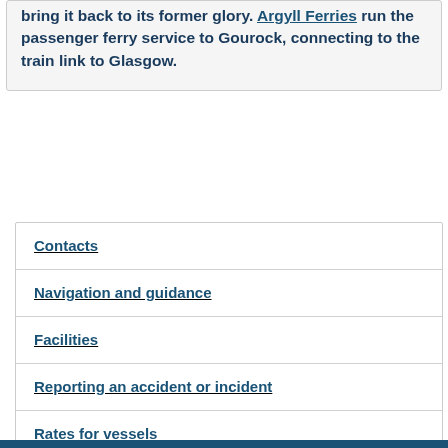bring it back to its former glory. Argyll Ferries run the passenger ferry service to Gourock, connecting to the train link to Glasgow.
Contacts
Navigation and guidance
Facilities
Reporting an accident or incident
Rates for vessels
Rates for goods
Notices to mariners